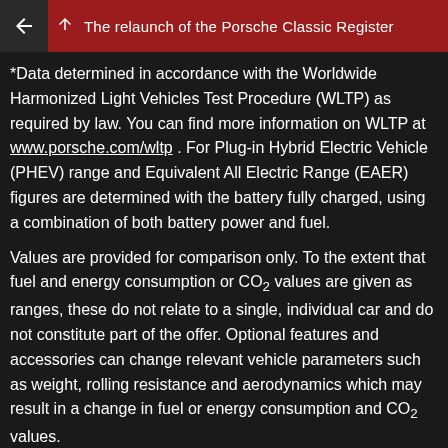The relaunch of the Porsche Classic Register
*Data determined in accordance with the Worldwide Harmonized Light Vehicles Test Procedure (WLTP) as required by law. You can find more information on WLTP at www.porsche.com/wltp . For Plug-in Hybrid Electric Vehicle (PHEV) range and Equivalent All Electric Range (EAER) figures are determined with the battery fully charged, using a combination of both battery power and fuel.
Values are provided for comparison only. To the extent that fuel and energy consumption or CO₂ values are given as ranges, these do not relate to a single, individual car and do not constitute part of the offer. Optional features and accessories can change relevant vehicle parameters such as weight, rolling resistance and aerodynamics which may result in a change in fuel or energy consumption and CO₂ values.